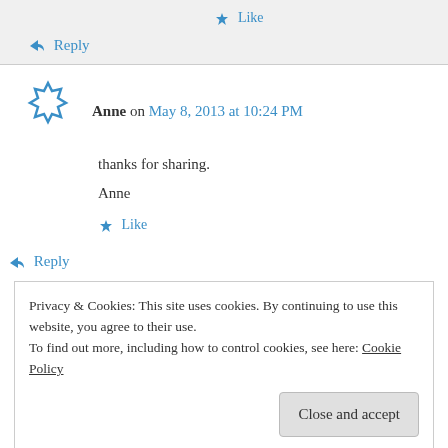★ Like
↪ Reply
Anne on May 8, 2013 at 10:24 PM
thanks for sharing.
Anne
★ Like
↪ Reply
Privacy & Cookies: This site uses cookies. By continuing to use this website, you agree to their use.
To find out more, including how to control cookies, see here: Cookie Policy
Close and accept